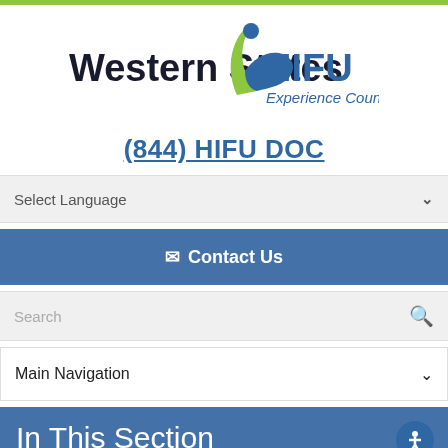[Figure (logo): Western States HIFU logo with stylized figure and tagline 'Experience Counts!']
(844) HIFU DOC
Select Language
✉ Contact Us
Search
Main Navigation
In This Section
Vasectomy